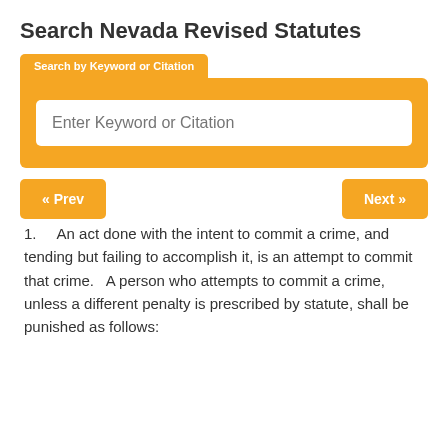Search Nevada Revised Statutes
[Figure (screenshot): Search by Keyword or Citation tab with orange background and a text input field containing placeholder text 'Enter Keyword or Citation']
« Prev
Next »
1.    An act done with the intent to commit a crime, and tending but failing to accomplish it, is an attempt to commit that crime.   A person who attempts to commit a crime, unless a different penalty is prescribed by statute, shall be punished as follows: